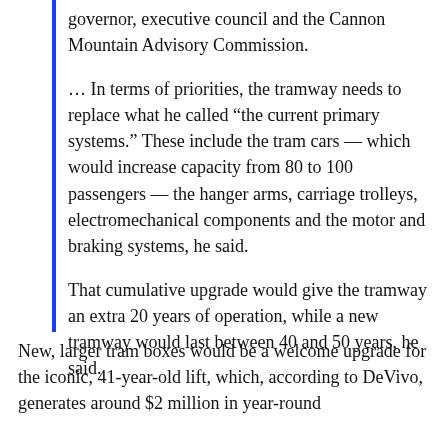governor, executive council and the Cannon Mountain Advisory Commission.
... In terms of priorities, the tramway needs to replace what he called “the current primary systems.” These include the tram cars — which would increase capacity from 80 to 100 passengers — the hanger arms, carriage trolleys, electromechanical components and the motor and braking systems, he said.
That cumulative upgrade would give the tramway an extra 20 years of operation, while a new tramway would last between 40 and 50 years, he said.
New, larger tram boxes would be a welcome upgrade for the iconic, 41-year-old lift, which, according to DeVivo, generates around $2 million in year-round